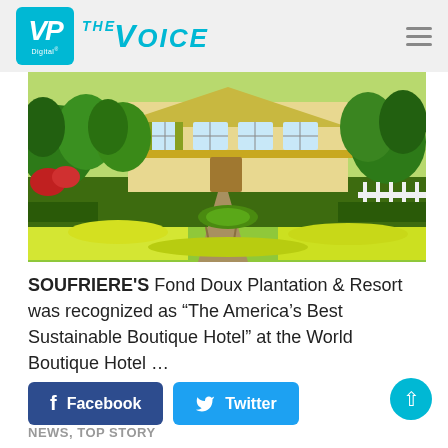VP Digital | THE VOICE
[Figure (photo): Tropical garden and plantation house with lush green lawn, yellow flowers, and tropical vegetation at Fond Doux Plantation & Resort, Soufriere, Saint Lucia]
SOUFRIERE'S Fond Doux Plantation & Resort was recognized as “The America’s Best Sustainable Boutique Hotel” at the World Boutique Hotel …
Facebook  Twitter
NEWS, TOP STORY